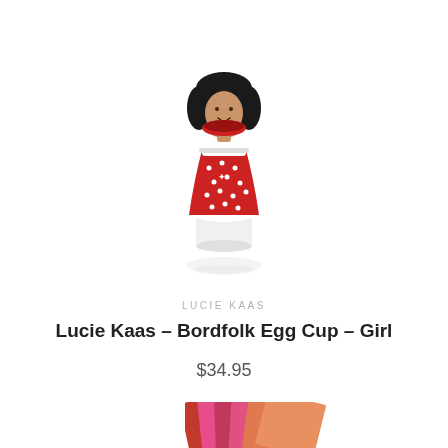[Figure (photo): Lucie Kaas Bordfolk Egg Cup Girl figurine — a small wooden doll with black hair, a smiling face, and a red polka-dot dress, serving as an egg cup. The figure casts a soft reflection below on a white background.]
LUCIE KAAS
Lucie Kaas – Bordfolk Egg Cup – Girl
$34.95
[Figure (photo): Close-up partial view of colored pencils or pens fanned out in shades of red, pink, magenta, orange, and peach on a white background.]